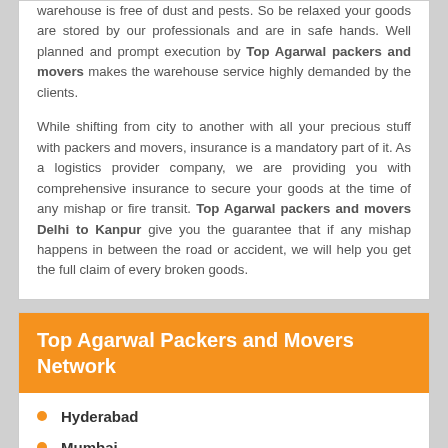warehouse is free of dust and pests. So be relaxed your goods are stored by our professionals and are in safe hands. Well planned and prompt execution by Top Agarwal packers and movers makes the warehouse service highly demanded by the clients.
While shifting from city to another with all your precious stuff with packers and movers, insurance is a mandatory part of it. As a logistics provider company, we are providing you with comprehensive insurance to secure your goods at the time of any mishap or fire transit. Top Agarwal packers and movers Delhi to Kanpur give you the guarantee that if any mishap happens in between the road or accident, we will help you get the full claim of every broken goods.
Top Agarwal Packers and Movers Network
Hyderabad
Mumbai
Chennai
Ahmedabad
Pune